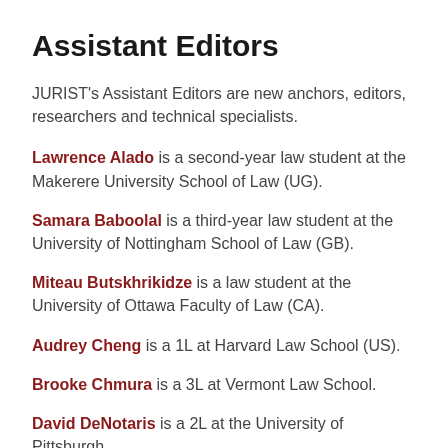Assistant Editors
JURIST's Assistant Editors are new anchors, editors, researchers and technical specialists.
Lawrence Alado is a second-year law student at the Makerere University School of Law (UG).
Samara Baboolal is a third-year law student at the University of Nottingham School of Law (GB).
Miteau Butskhrikidze is a law student at the University of Ottawa Faculty of Law (CA).
Audrey Cheng is a 1L at Harvard Law School (US).
Brooke Chmura is a 3L at Vermont Law School.
David DeNotaris is a 2L at the University of Pittsburgh